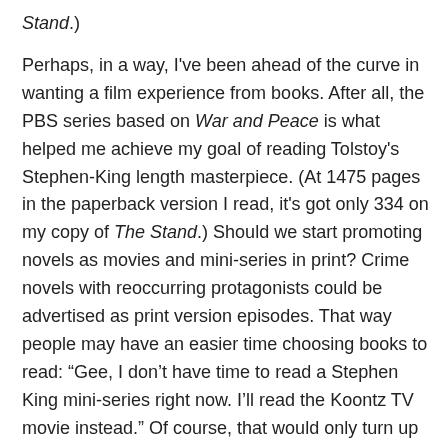Stand.)
Perhaps, in a way, I've been ahead of the curve in wanting a film experience from books. After all, the PBS series based on War and Peace is what helped me achieve my goal of reading Tolstoy's Stephen-King length masterpiece. (At 1475 pages in the paperback version I read, it's got only 334 on my copy of The Stand.) Should we start promoting novels as movies and mini-series in print? Crime novels with reoccurring protagonists could be advertised as print version episodes. That way people may have an easier time choosing books to read: “Gee, I don’t have time to read a Stephen King mini-series right now. I’ll read the Koontz TV movie instead.” Of course, that would only turn up the pressure on bestselling authors to churn out more novels faster.